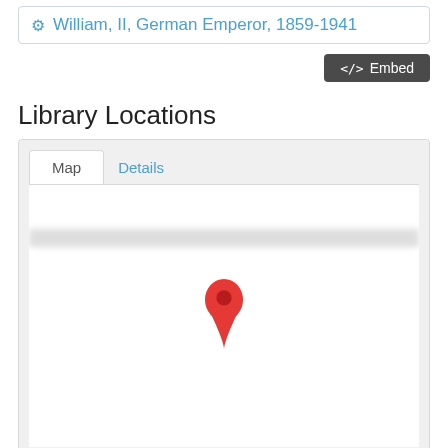William, II, German Emperor, 1859-1941
</> Embed
Library Locations
[Figure (map): A map tab interface showing 'Map' and 'Details' tabs, with a mostly blank map area containing a red location pin marker in the center.]